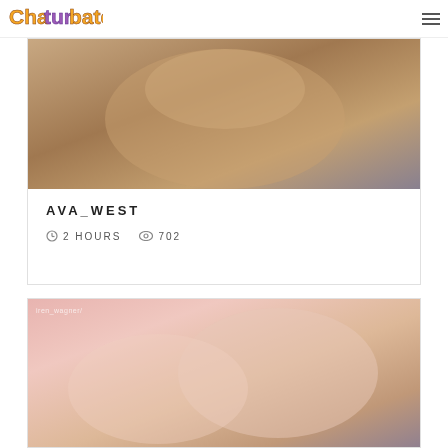Chaturbate
[Figure (photo): Thumbnail image for ava_west stream]
AVA_WEST
2 HOURS  702
[Figure (photo): Thumbnail image for iren_wagner stream with watermark text iren_wagner/]